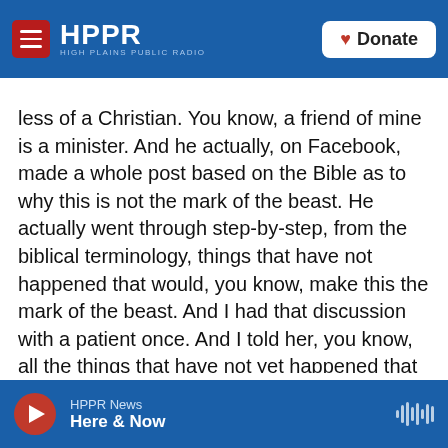HPPR — HIGH PLAINS PUBLIC RADIO | Donate
less of a Christian. You know, a friend of mine is a minister. And he actually, on Facebook, made a whole post based on the Bible as to why this is not the mark of the beast. He actually went through step-by-step, from the biblical terminology, things that have not happened that would, you know, make this the mark of the beast. And I had that discussion with a patient once. And I told her, you know, all the things that have not yet happened that he had said. And she was like, oh, I feel so much better. And I was like, whoa, you know, I didn't tell you anything about the data and the science
HPPR News — Here & Now